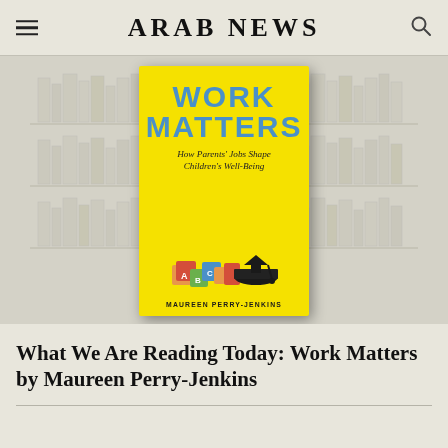ARAB NEWS
[Figure (illustration): Book cover of 'Work Matters: How Parents' Jobs Shape Children's Well-Being' by Maureen Perry-Jenkins, yellow background with blue title text, shown against a bookshelf illustration background]
What We Are Reading Today: Work Matters by Maureen Perry-Jenkins